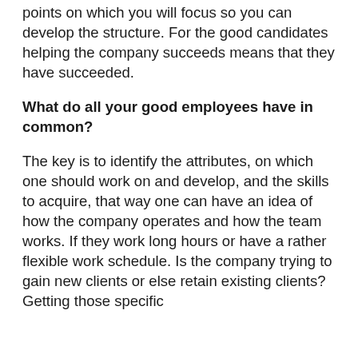points on which you will focus so you can develop the structure. For the good candidates helping the company succeeds means that they have succeeded.
What do all your good employees have in common?
The key is to identify the attributes, on which one should work on and develop, and the skills to acquire, that way one can have an idea of how the company operates and how the team works. If they work long hours or have a rather flexible work schedule. Is the company trying to gain new clients or else retain existing clients? Getting those specific